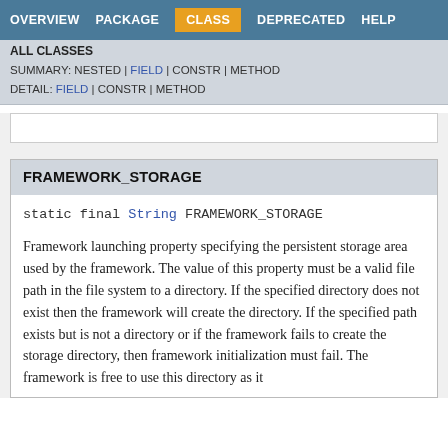OVERVIEW  PACKAGE  CLASS  DEPRECATED  HELP
ALL CLASSES
SUMMARY: NESTED | FIELD | CONSTR | METHOD
DETAIL: FIELD | CONSTR | METHOD
FRAMEWORK_STORAGE
static final String FRAMEWORK_STORAGE
Framework launching property specifying the persistent storage area used by the framework. The value of this property must be a valid file path in the file system to a directory. If the specified directory does not exist then the framework will create the directory. If the specified path exists but is not a directory or if the framework fails to create the storage directory, then framework initialization must fail. The framework is free to use this directory as it